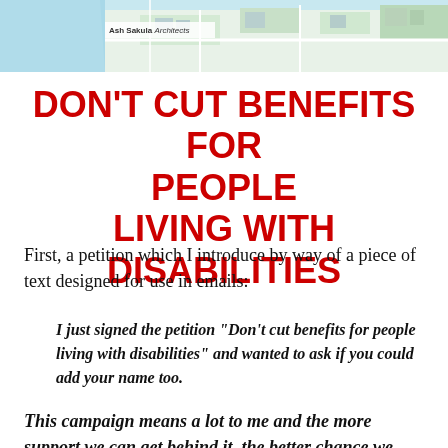[Figure (map): Aerial/plan map image with label 'Ash Sakula Architects' visible in lower left area of the map strip]
DON'T CUT BENEFITS FOR PEOPLE LIVING WITH DISABILITIES
First, a petition which I introduce by way of a piece of text designed for use in emails:
I just signed the petition “Don’t cut benefits for people living with disabilities” and wanted to ask if you could add your name too.
This campaign means a lot to me and the more support we can get behind it, the better chance we